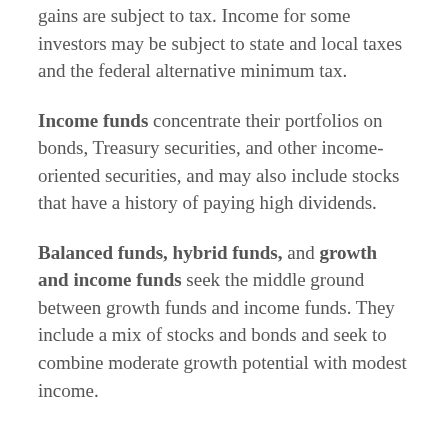…while they are not exempt, any capital gains are subject to tax. Income for some investors may be subject to state and local taxes and the federal alternative minimum tax.
Income funds concentrate their portfolios on bonds, Treasury securities, and other income-oriented securities, and may also include stocks that have a history of paying high dividends.
Balanced funds, hybrid funds, and growth and income funds seek the middle ground between growth funds and income funds. They include a mix of stocks and bonds and seek to combine moderate growth potential with modest income.